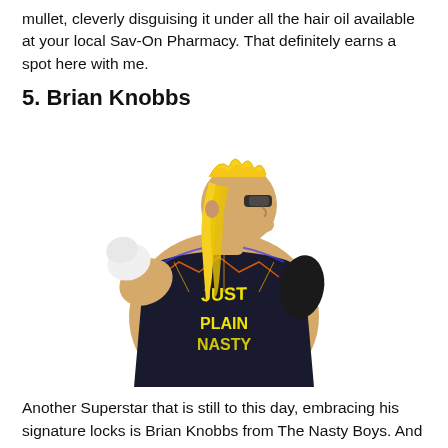mullet, cleverly disguising it under all the hair oil available at your local Sav-On Pharmacy. That definitely earns a spot here with me.
5. Brian Knobbs
[Figure (photo): Brian Knobbs wrestler posing from behind, showing his blonde mullet, sunglasses, and a black vest with 'JUST PLAIN NASTY' written in yellow text on the back. He is wearing white hand wraps.]
Another Superstar that is still to this day, embracing his signature locks is Brian Knobbs from The Nasty Boys. And